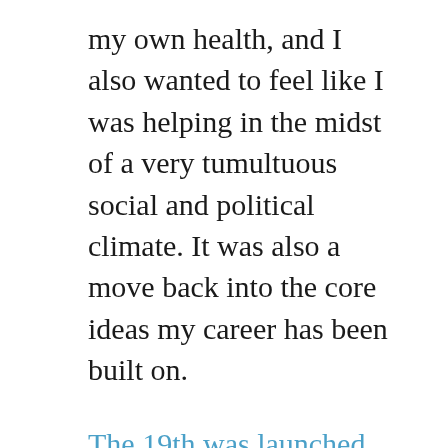my own health, and I also wanted to feel like I was helping in the midst of a very tumultuous social and political climate. It was also a move back into the core ideas my career has been built on.
The 19th was launched in January 2020 by veterans of the Texas Tribune and ProPublica who understood the need to report stories from a more diverse perspective than is normally offered by an industry still dominated by white men. I've been following it from the beginning as a prominent subscription